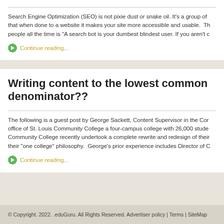Search Engine Optimization (SEO) is not pixie dust or snake oil. It's a group of that when done to a website it makes your site more accessible and usable. Th people all the time is "A search bot is your dumbest blindest user. If you aren't c
Continue reading...
Writing content to the lowest common denominator??
The following is a guest post by George Sackett, Content Supervisor in the Cor office of St. Louis Community College a four-campus college with 26,000 stude Community College recently undertook a complete rewrite and redesign of their their "one college" philosophy. George's prior experience includes Director of C
Continue reading...
© Copyright. 2022. .eduGuru. All Rights Reserved. Advertiser policy | Terms | SiteMap